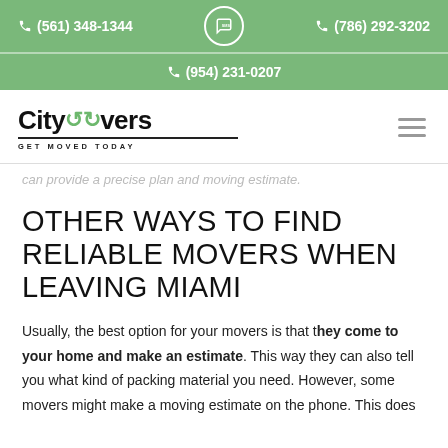(561) 348-1344   SMS   (786) 292-3202
(954) 231-0207
[Figure (logo): Citymovers logo with green recycling arrows and tagline GET MOVED TODAY, hamburger menu icon on right]
can provide a precise plan and moving estimate.
OTHER WAYS TO FIND RELIABLE MOVERS WHEN LEAVING MIAMI
Usually, the best option for your movers is that they come to your home and make an estimate. This way they can also tell you what kind of packing material you need. However, some movers might make a moving estimate on the phone. This does